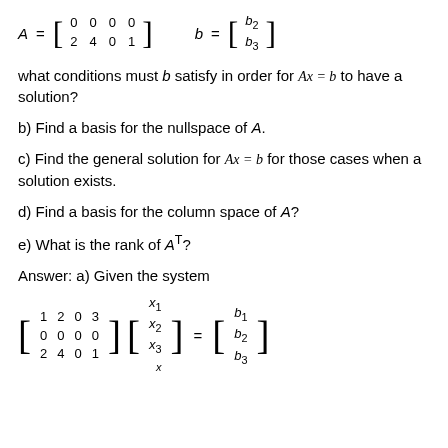what conditions must b satisfy in order for Ax = b to have a solution?
b) Find a basis for the nullspace of A.
c) Find the general solution for Ax = b for those cases when a solution exists.
d) Find a basis for the column space of A?
e) What is the rank of A^T?
Answer: a) Given the system